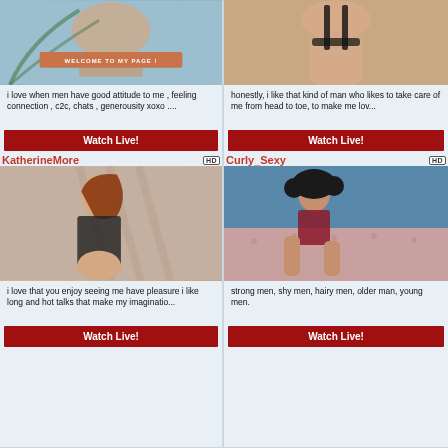[Figure (photo): Cropped photo of a woman in lingerie with palm leaf, banner text 'WELCOME TO MY PAGE !']
i love when men have good attitude to me , feeling connection , c2c, chats , generousity xoxo ....
Watch Live!
KatherineMore
[Figure (photo): Woman with red hair in black lingerie posing on a bed]
i love that you enjoy seeing me have pleasure i like long and hot talks that make my imaginatio...
Watch Live!
[Figure (photo): Cropped photo of a woman in black lingerie from behind]
honestly, i like that kind of man who likes to take care of me from head to toe, to make me lov...
Watch Live!
Curly_Sexy
[Figure (photo): Woman with curly dark hair in red lingerie sitting on a pink velvet sofa]
strong men, shy men, hairy men, older man, young men.
Watch Live!